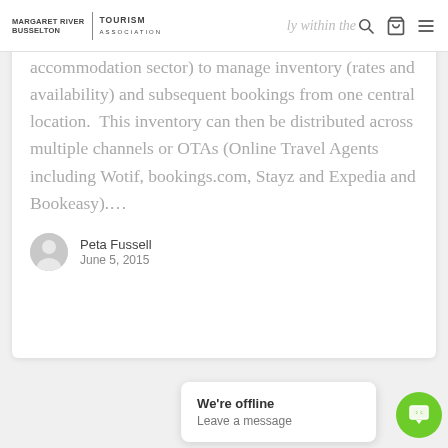Margaret River Busselton | Tourism Association — [navigation bar with logo, search, cart, and menu icons]
accommodation sector) to manage inventory (rates and availability) and subsequent bookings from one central location.  This inventory can then be distributed across multiple channels or OTAs (Online Travel Agents including Wotif, bookings.com, Stayz and Expedia and Bookeasy)….
Peta Fussell
June 5, 2015
We're offline
Leave a message